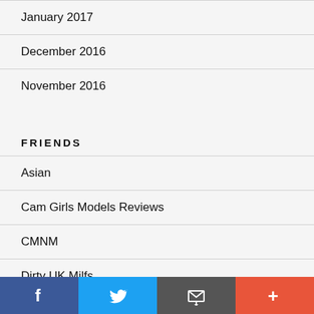January 2017
December 2016
November 2016
FRIENDS
Asian
Cam Girls Models Reviews
CMNM
Dirty UK Milfs
Filthy British Porn